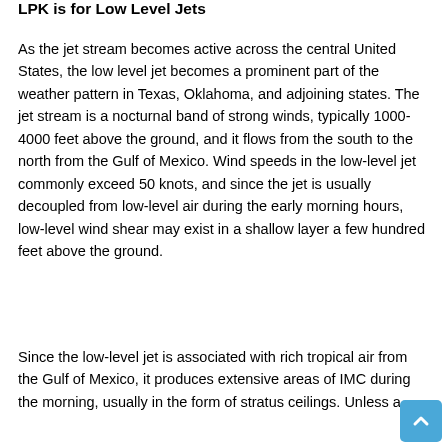LPK is for Low Level Jets
As the jet stream becomes active across the central United States, the low level jet becomes a prominent part of the weather pattern in Texas, Oklahoma, and adjoining states. The jet stream is a nocturnal band of strong winds, typically 1000-4000 feet above the ground, and it flows from the south to the north from the Gulf of Mexico. Wind speeds in the low-level jet commonly exceed 50 knots, and since the jet is usually decoupled from low-level air during the early morning hours, low-level wind shear may exist in a shallow layer a few hundred feet above the ground.
Since the low-level jet is associated with rich tropical air from the Gulf of Mexico, it produces extensive areas of IMC during the morning, usually in the form of stratus ceilings. Unless a